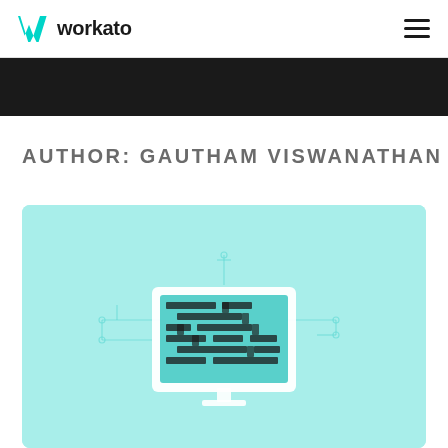workato
AUTHOR: GAUTHAM VISWANATHAN
[Figure (illustration): Light teal/mint colored card with a computer monitor illustration showing circuit-board-like maze patterns on the screen, with connecting lines and nodes around it on a mint background]